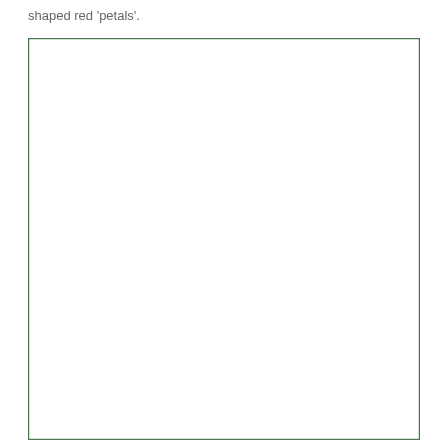shaped red ‘petals’.
[Figure (illustration): A repeating pattern of stylized geometric tulip flowers arranged in 5 rows and 5 columns. Each tulip consists of an orange teardrop-shaped bloom with a small pink accent petal, set against dark green curved leaf/stem shapes and lighter green background leaves. The pattern is enclosed in a double green border on a white background.]